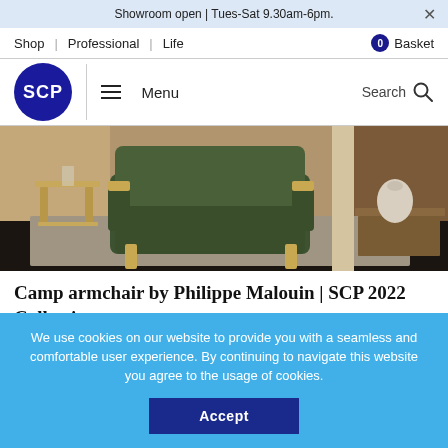Showroom open | Tues-Sat 9.30am-6pm.
Shop | Professional | Life   0 Basket
[Figure (logo): SCP logo - blue circle with white SCP text, hamburger menu icon with Menu label, and Search magnifier icon]
[Figure (photo): Product photo of Camp armchair by Philippe Malouin - dark green upholstered armchair with wooden frame on a rug, beside a wooden side table with vase]
Camp armchair by Philippe Malouin | SCP 2022 Collection
31.05.22
We use cookies on our website to provide you with a seamless and comfortable user experience. By continuing to navigate this website you agree to the usage of cookies.
Accept